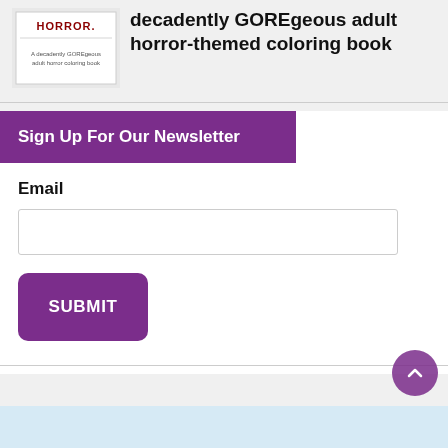[Figure (illustration): Book cover thumbnail showing horror-themed coloring book with text in red horror font]
decadently GOREgeous adult horror-themed coloring book
Sign Up For Our Newsletter
Email
SUBMIT